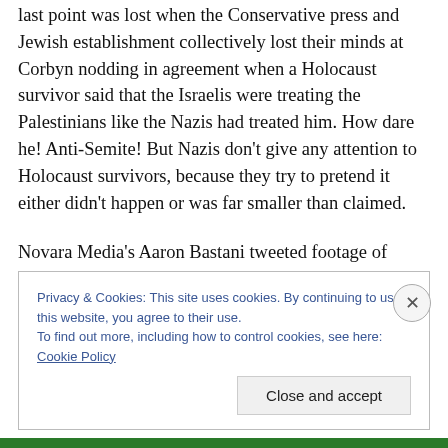last point was lost when the Conservative press and Jewish establishment collectively lost their minds at Corbyn nodding in agreement when a Holocaust survivor said that the Israelis were treating the Palestinians like the Nazis had treated him. How dare he! Anti-Semite! But Nazis don't give any attention to Holocaust survivors, because they try to pretend it either didn't happen or was far smaller than claimed.
Novara Media's Aaron Bastani tweeted footage of Brooker's joke, commenting
Privacy & Cookies: This site uses cookies. By continuing to use this website, you agree to their use.
To find out more, including how to control cookies, see here: Cookie Policy